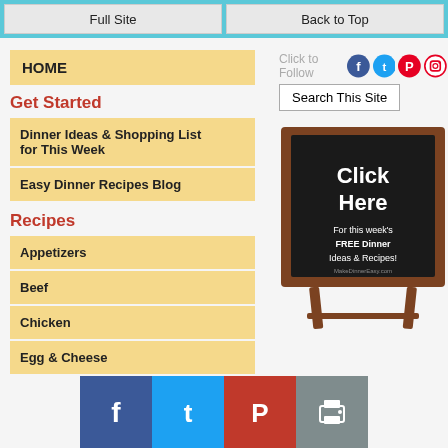Full Site | Back to Top
HOME
Click to Follow
Search This Site
Get Started
Dinner Ideas & Shopping List for This Week
Easy Dinner Recipes Blog
[Figure (illustration): Chalkboard sign on wooden easel reading 'Click Here For this week's FREE Dinner Ideas & Recipes!']
Recipes
Appetizers
Beef
Chicken
Egg & Cheese
Pasta
Facebook | Twitter | Pinterest | Print